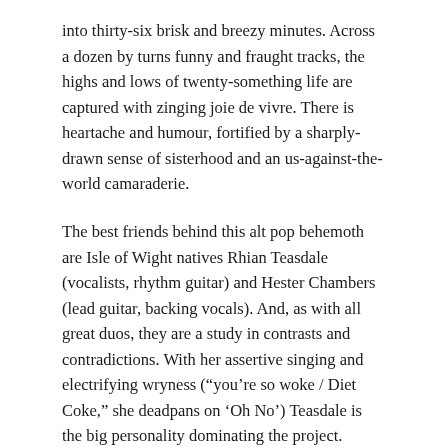into thirty-six brisk and breezy minutes. Across a dozen by turns funny and fraught tracks, the highs and lows of twenty-something life are captured with zinging joie de vivre. There is heartache and humour, fortified by a sharply-drawn sense of sisterhood and an us-against-the-world camaraderie.
The best friends behind this alt pop behemoth are Isle of Wight natives Rhian Teasdale (vocalists, rhythm guitar) and Hester Chambers (lead guitar, backing vocals). And, as with all great duos, they are a study in contrasts and contradictions. With her assertive singing and electrifying wryness (“you’re so woke / Diet Coke,” she deadpans on ‘Oh No’) Teasdale is the big personality dominating the project.
But the secret ingredient is Chambers, a wallflower with laser-beam eyes. She is the ghost haunting Wet Leg’s June 2020 break-out single, ‘Chaise Longue’. Hovering in the background she nonetheless gets the best line – that teasing, whispered “whaat?”